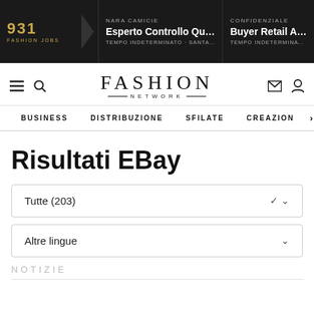931 FASHION JOBS | NARA CAMICIE - Esperto Controllo Qua... TEMPO INDETERMINATO - SANTA MARI... | CONFIDENZIALE - Buyer Retail Abbi... TEMPO INDETERMINATO - M
[Figure (logo): Fashion Network logo with navigation icons (hamburger menu, search, envelope, user)]
BUSINESS  DISTRIBUZIONE  SFILATE  CREAZION  >
Risultati EBay
Tutte (203)
Altre lingue
NOTIZIE